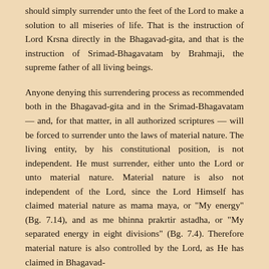should simply surrender unto the feet of the Lord to make a solution to all miseries of life. That is the instruction of Lord Krsna directly in the Bhagavad-gita, and that is the instruction of Srimad-Bhagavatam by Brahmaji, the supreme father of all living beings.
Anyone denying this surrendering process as recommended both in the Bhagavad-gita and in the Srimad-Bhagavatam — and, for that matter, in all authorized scriptures — will be forced to surrender unto the laws of material nature. The living entity, by his constitutional position, is not independent. He must surrender, either unto the Lord or unto material nature. Material nature is also not independent of the Lord, since the Lord Himself has claimed material nature as mama maya, or “My energy” (Bg. 7.14), and as me bhinna prakrtir astadha, or “My separated energy in eight divisions” (Bg. 7.4). Therefore material nature is also controlled by the Lord, as He has claimed in Bhagavad-